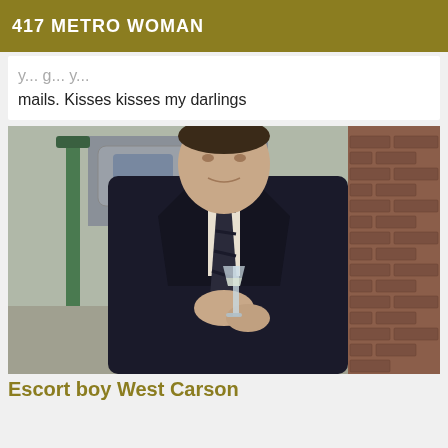417 METRO WOMAN
mails. Kisses kisses my darlings
[Figure (photo): Man in dark suit and striped tie holding a champagne glass, standing outdoors near a green lamp post with a car in background and brick wall to the right]
Escort boy West Carson